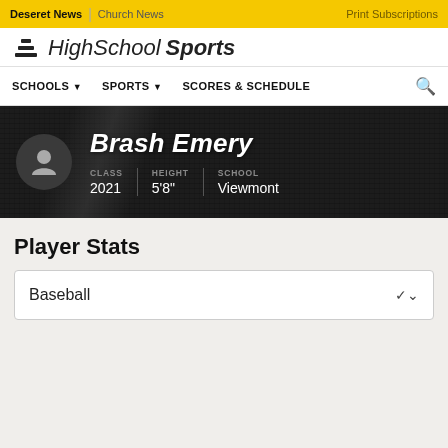Deseret News | Church News | Print Subscriptions
HighSchoolSports
SCHOOLS ▾   SPORTS ▾   SCORES & SCHEDULE   🔍
Brash Emery
CLASS 2021 | HEIGHT 5'8" | SCHOOL Viewmont
Player Stats
Baseball